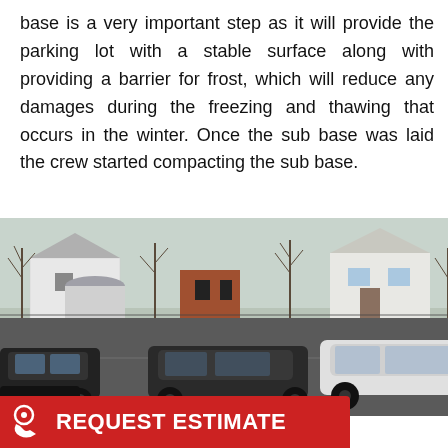base is a very important step as it will provide the parking lot with a stable surface along with providing a barrier for frost, which will reduce any damages during the freezing and thawing that occurs in the winter. Once the sub base was laid the crew started compacting the sub base.
[Figure (photo): Photograph of a parking lot with several cars parked and driving through, with buildings and bare trees visible in the background. The scene appears to be taken in winter or early spring.]
REQUEST ESTIMATE